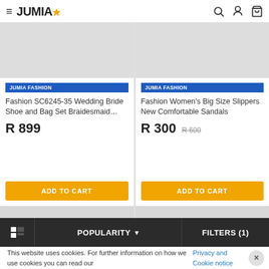JUMIA (logo with star)
[Figure (screenshot): Product card: JUMIA FASHION badge, Fashion SC6245-35 Wedding Bride Shoe and Bag Set Braidesmaid..., R 899, ADD TO CART button]
[Figure (screenshot): Product card: JUMIA FASHION badge, Fashion Women's Big Size Slippers New Comfortable Sandals, R 300 (was R 600), ADD TO CART button]
POPULARITY  FILTERS (1)
This website uses cookies. For further information on how we use cookies you can read our Privacy and Cookie notice